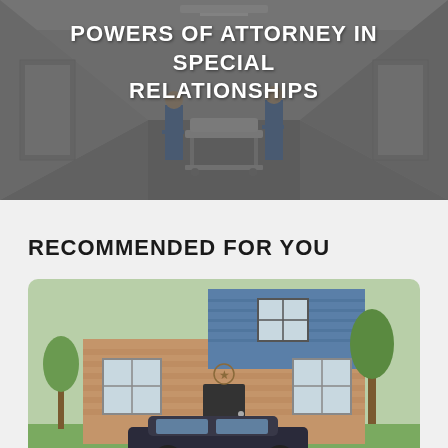[Figure (photo): Hospital corridor scene showing medical staff (nurses in blue scrubs) pushing a gurney/stretcher down a hallway, blurred motion, dark/moody lighting]
POWERS OF ATTORNEY IN SPECIAL RELATIONSHIPS
RECOMMENDED FOR YOU
[Figure (photo): Exterior photo of a two-story brick and blue siding residential house with a black sedan car parked in front, trees and landscaping visible]